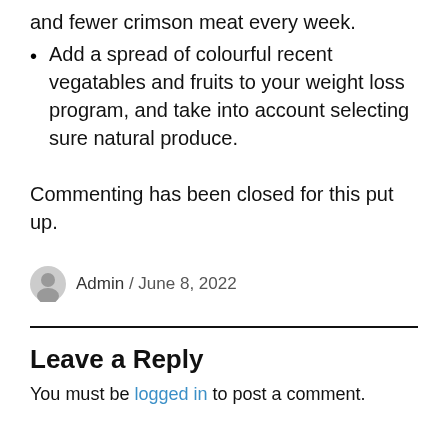and fewer crimson meat every week.
Add a spread of colourful recent vegatables and fruits to your weight loss program, and take into account selecting sure natural produce.
Commenting has been closed for this put up.
Admin / June 8, 2022
Leave a Reply
You must be logged in to post a comment.